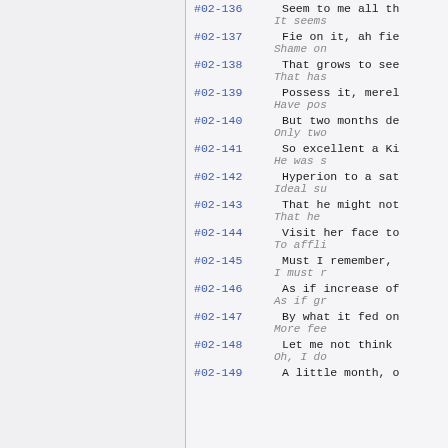#02-136 | Seem to me all th... | It seems...
#02-137 | Fie on it, ah fie... | Shame on...
#02-138 | That grows to see... | That has...
#02-139 | Possess it, merel... | Have pos...
#02-140 | But two months de... | Only two...
#02-141 | So excellent a Ki... | He was s...
#02-142 | Hyperion to a sat... | Ideal su...
#02-143 | That he might not... | That he...
#02-144 | Visit her face to... | To affli...
#02-145 | Must I remember,... | I must r...
#02-146 | As if increase of... | As if gr...
#02-147 | By what it fed on... | More fee...
#02-148 | Let me not think... | Oh, I do...
#02-149 | A little month, o...